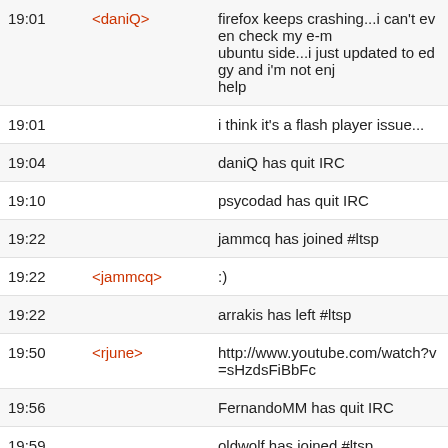| Time | Nick | Message |
| --- | --- | --- |
| 19:01 | <daniQ> | firefox keeps crashing...i can't even check my e-m... ubuntu side...i just updated to edgy and i'm not enj... help |
| 19:01 |  | i think it's a flash player issue... |
| 19:04 |  | daniQ has quit IRC |
| 19:10 |  | psycodad has quit IRC |
| 19:22 |  | jammcq has joined #ltsp |
| 19:22 | <jammcq> | :) |
| 19:22 |  | arrakis has left #ltsp |
| 19:50 | <rjune> | http://www.youtube.com/watch?v=sHzdsFiBbFc |
| 19:56 |  | FernandoMM has quit IRC |
| 19:59 |  | oldwolf has joined #ltsp |
| 20:14 |  | robbie has joined #ltsp |
| 20:42 |  | FaithX has joined #ltsp |